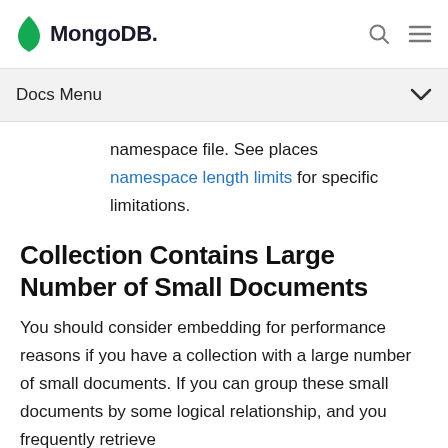MongoDB
Docs Menu
namespace file. See places namespace length limits for specific limitations.
Collection Contains Large Number of Small Documents
You should consider embedding for performance reasons if you have a collection with a large number of small documents. If you can group these small documents by some logical relationship, and you frequently retrieve